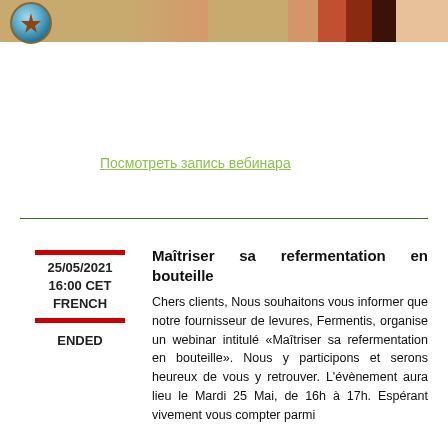[Figure (illustration): Website header banner with circular logo/emblem on left and decorative colored stripes on right against a tan/brown background]
Посмотреть запись вебинара
25/05/2021
16:00 CET
FRENCH

ENDED
Maîtriser sa refermentation en bouteille
Chers clients, Nous souhaitons vous informer que notre fournisseur de levures, Fermentis, organise un webinar intitulé «Maîtriser sa refermentation en bouteille». Nous y participons et serons heureux de vous y retrouver. L'évènement aura lieu le Mardi 25 Mai, de 16h à 17h. Espérant vivement vous compter parmi